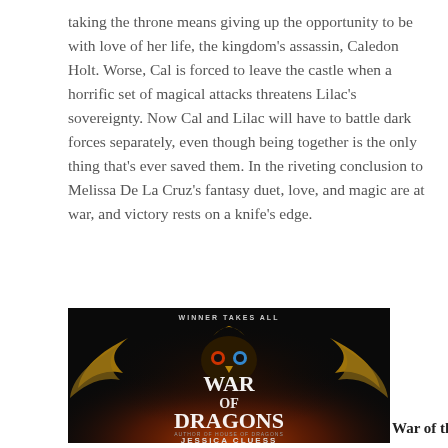taking the throne means giving up the opportunity to be with love of her life, the kingdom's assassin, Caledon Holt. Worse, Cal is forced to leave the castle when a horrific set of magical attacks threatens Lilac's sovereignty. Now Cal and Lilac will have to battle dark forces separately, even though being together is the only thing that's ever saved them. In the riveting conclusion to Melissa De La Cruz's fantasy duet, love, and magic are at war, and victory rests on a knife's edge.
[Figure (photo): Book cover of 'War of Dragons' by Jessica Cluess. Dark background with an ornate owl-like creature made of gold and metal, with wings spread. Text reads 'WINNER TAKES ALL' at top, 'WAR OF DRAGONS' in large letters, 'JESSICA CLUESS' at bottom, and 'AUTHOR OF HOUSE OF DRAGONS' in small text.]
War of the Dragons